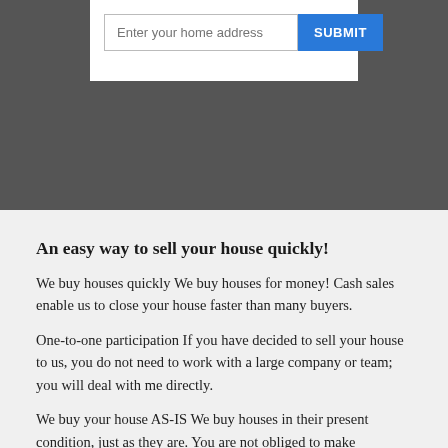[Figure (screenshot): Top portion of a webpage showing a white card UI element with an address input field and a blue SUBMIT button, overlaid on a dark background photo.]
An easy way to sell your house quickly!
We buy houses quickly We buy houses for money! Cash sales enable us to close your house faster than many buyers.
One-to-one participation If you have decided to sell your house to us, you do not need to work with a large company or team; you will deal with me directly.
We buy your house AS-IS We buy houses in their present condition, just as they are. You are not obliged to make